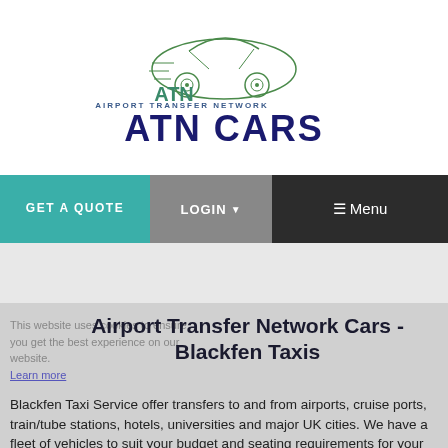[Figure (logo): ATN Cars - Airport Transfer Network logo with car illustration and green/dark blue text]
GET A QUOTE  LOGIN  Menu
Airport Transfer Network Cars - Blackfen Taxis
This website uses cookies to ensure you get the best experience on our website. Learn more
Blackfen Taxi Service offer transfers to and from airports, cruise ports, train/tube stations, hotels, universities and major UK cities. We have a fleet of vehicles to suit your budget and seating requirements for your minical...
+